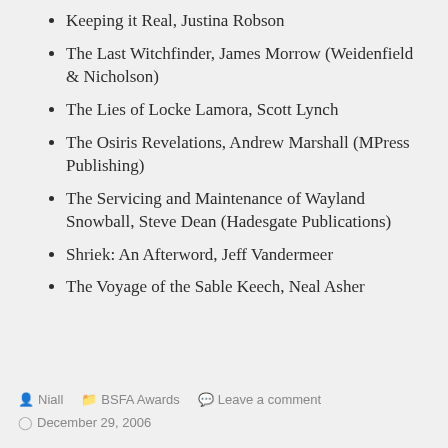Keeping it Real, Justina Robson
The Last Witchfinder, James Morrow (Weidenfield & Nicholson)
The Lies of Locke Lamora, Scott Lynch
The Osiris Revelations, Andrew Marshall (MPress Publishing)
The Servicing and Maintenance of Wayland Snowball, Steve Dean (Hadesgate Publications)
Shriek: An Afterword, Jeff Vandermeer
The Voyage of the Sable Keech, Neal Asher
Niall   BSFA Awards   Leave a comment
December 29, 2006